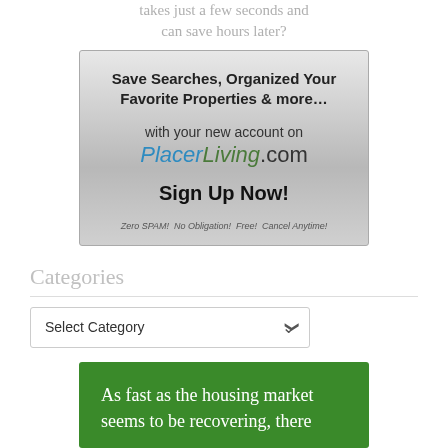takes just a few seconds and can save hours later?
[Figure (infographic): Advertisement box for PlacerLiving.com with silver gradient background. Text: 'Save Searches, Organized Your Favorite Properties & more... with your new account on PlacerLiving.com Sign Up Now! Zero SPAM! No Obligation! Free! Cancel Anytime!']
Categories
Select Category
[Figure (infographic): Green banner with white text beginning: 'As fast as the housing market seems to be recovering, there']